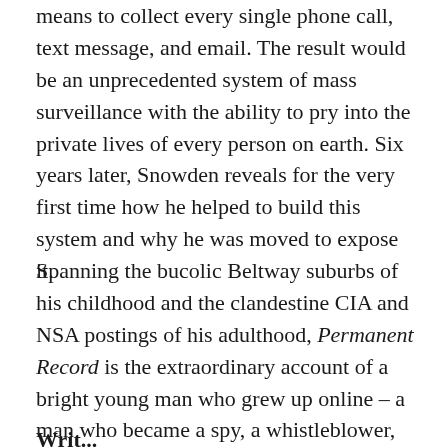means to collect every single phone call, text message, and email. The result would be an unprecedented system of mass surveillance with the ability to pry into the private lives of every person on earth. Six years later, Snowden reveals for the very first time how he helped to build this system and why he was moved to expose it.
Spanning the bucolic Beltway suburbs of his childhood and the clandestine CIA and NSA postings of his adulthood, Permanent Record is the extraordinary account of a bright young man who grew up online – a man who became a spy, a whistleblower, and, in exile, the Internet's conscience.
Written with the same...